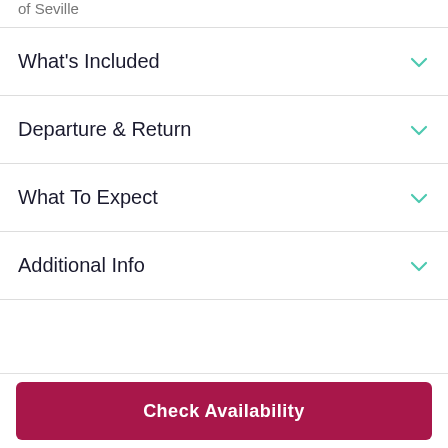of Seville
What's Included
Departure & Return
What To Expect
Additional Info
Check Availability